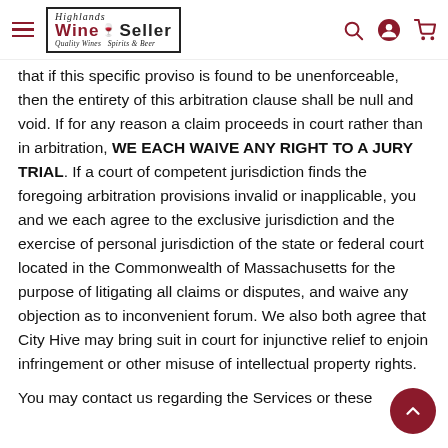Highlands Wine Seller — Quality Wines Spirits & Beer
that if this specific proviso is found to be unenforceable, then the entirety of this arbitration clause shall be null and void. If for any reason a claim proceeds in court rather than in arbitration, WE EACH WAIVE ANY RIGHT TO A JURY TRIAL. If a court of competent jurisdiction finds the foregoing arbitration provisions invalid or inapplicable, you and we each agree to the exclusive jurisdiction and the exercise of personal jurisdiction of the state or federal court located in the Commonwealth of Massachusetts for the purpose of litigating all claims or disputes, and waive any objection as to inconvenient forum. We also both agree that City Hive may bring suit in court for injunctive relief to enjoin infringement or other misuse of intellectual property rights.
You may contact us regarding the Services or these